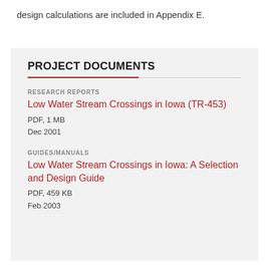design calculations are included in Appendix E.
PROJECT DOCUMENTS
RESEARCH REPORTS
Low Water Stream Crossings in Iowa (TR-453)
PDF, 1 MB
Dec 2001
GUIDES/MANUALS
Low Water Stream Crossings in Iowa: A Selection and Design Guide
PDF, 459 KB
Feb 2003